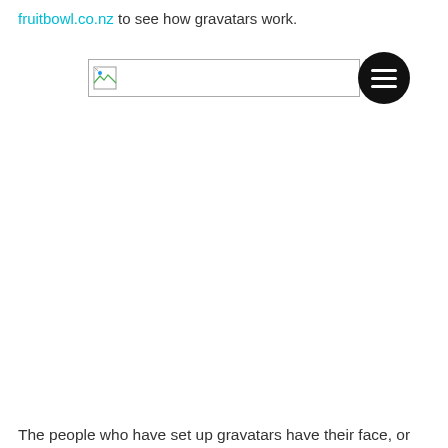fruitbowl.co.nz to see how gravatars work.
[Figure (screenshot): A broken image placeholder icon inside a bordered input bar, with a circular black hamburger menu button overlapping on the right.]
The people who have set up gravatars have their face, or